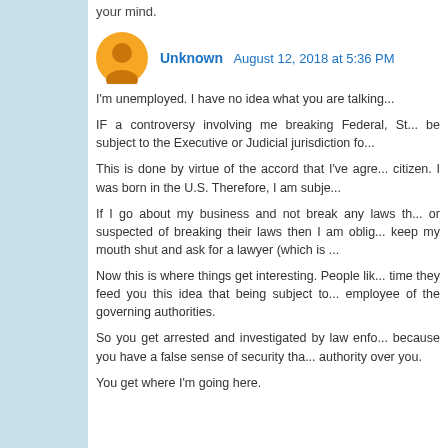your mind.
Unknown  August 12, 2018 at 5:36 PM
I'm unemployed. I have no idea what you are talking...
IF a controversy involving me breaking Federal, St... be subject to the Executive or Judicial jurisdiction fo...
This is done by virtue of the accord that I've agre... citizen. I was born in the U.S. Therefore, I am subje...
If I go about my business and not break any laws th... or suspected of breaking their laws then I am oblig... keep my mouth shut and ask for a lawyer (which is ...
Now this is where things get interesting. People lik... time they feed you this idea that being subject to... employee of the governing authorities.
So you get arrested and investigated by law enfo... because you have a false sense of security tha... authority over you.
You get where I'm going here.